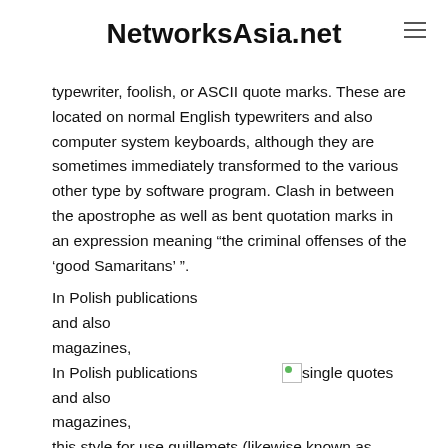NetworksAsia.net
typewriter, foolish, or ASCII quote marks. These are located on normal English typewriters and also computer system keyboards, although they are sometimes immediately transformed to the various other type by software program. Clash in between the apostrophe as well as bent quotation marks in an expression meaning “the criminal offenses of the ‘good Samaritans’ ”.
[Figure (illustration): Broken image placeholder icon with green circle, labeled 'single quotes']
In Polish publications and also magazines, this style for use guillemets (likewise known as “German quotes”) is utilized almost solely. In addition to being basic for 2nd level quotes, guillemet quotes are in